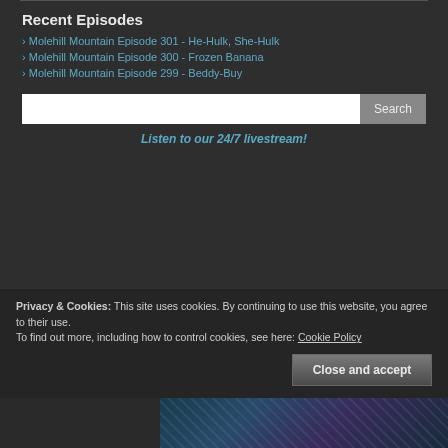Recent Episodes
Molehill Mountain Episode 301 - He-Hulk, She-Hulk
Molehill Mountain Episode 300 - Frozen Banana
Molehill Mountain Episode 299 - Beddy-Buy
Search
Listen to our 24/7 livestream!
Privacy & Cookies: This site uses cookies. By continuing to use this website, you agree to their use.
To find out more, including how to control cookies, see here: Cookie Policy
Close and accept